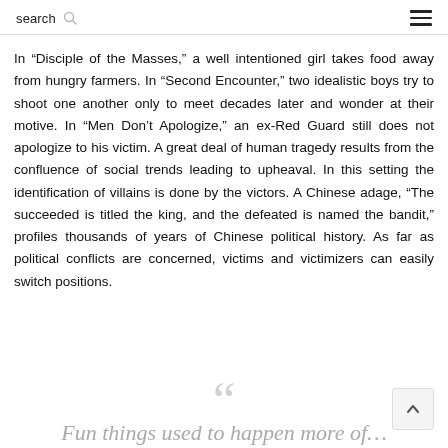search
In “Disciple of the Masses,” a well intentioned girl takes food away from hungry farmers. In “Second Encounter,” two idealistic boys try to shoot one another only to meet decades later and wonder at their motive. In “Men Don’t Apologize,” an ex-Red Guard still does not apologize to his victim. A great deal of human tragedy results from the confluence of social trends leading to upheaval. In this setting the identification of villains is done by the victors. A Chinese adage, “The succeeded is titled the king, and the defeated is named the bandit,” profiles thousands of years of Chinese political history. As far as political conflicts are concerned, victims and victimizers can easily switch positions.
““ Fun things used to happen more of…